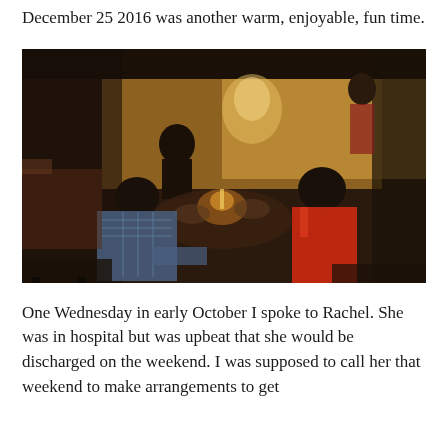December 25 2016 was another warm, enjoyable, fun time.
[Figure (photo): People sitting around a table eating a meal indoors by candlelight. A person in a blue plaid shirt sits with back to camera on the left, a person in a red dress sits on the right. Background shows a warmly lit kitchen/living room area with more people.]
One Wednesday in early October I spoke to Rachel. She was in hospital but was upbeat that she would be discharged on the weekend. I was supposed to call her that weekend to make arrangements to get